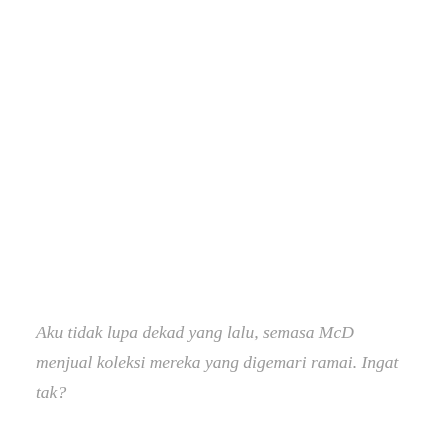Aku tidak lupa dekad yang lalu, semasa McD menjual koleksi mereka yang digemari ramai. Ingat tak?